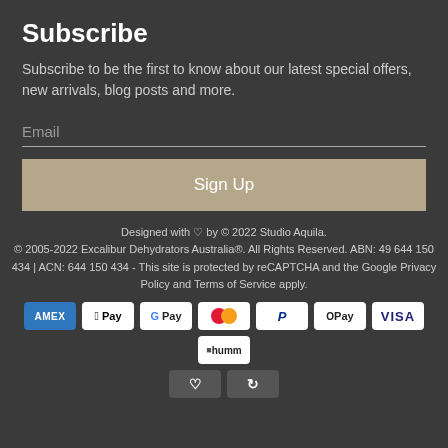Subscribe
Subscribe to be the first to know about our latest special offers, new arrivals, blog posts and more.
Email
Sign Up
Designed with ♡ by © 2022 Studio Aquila. © 2005-2022 Excalibur Dehydrators Australia®. All Rights Reserved. ABN: 49 644 150 434 | ACN: 644 150 434 - This site is protected by reCAPTCHA and the Google Privacy Policy and Terms of Service apply.
[Figure (other): Payment method icons: AMEX, Apple Pay, G Pay, Mastercard, PayPal, OPay, VISA, humm, and two more partially visible icons]